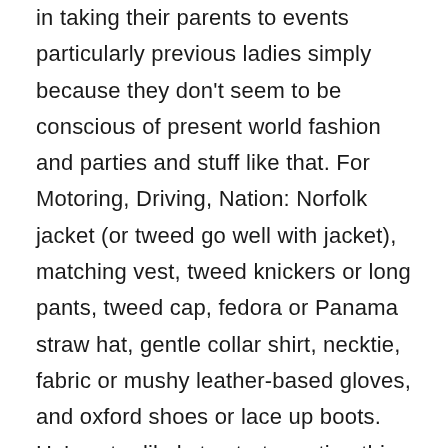in taking their parents to events particularly previous ladies simply because they don't seem to be conscious of present world fashion and parties and stuff like that. For Motoring, Driving, Nation: Norfolk jacket (or tweed go well with jacket), matching vest, tweed knickers or long pants, tweed cap, fedora or Panama straw hat, gentle collar shirt, necktie, fabric or mushy leather-based gloves, and oxford shoes or lace up boots. He's extra likely to start sporting this vogue at a much youthful age than Jamie, too. Girls – We desire a nice gown, whether or not it's the versatile little black costume or a colourful sundress. To put it merely, business casual shouldn't be dressing